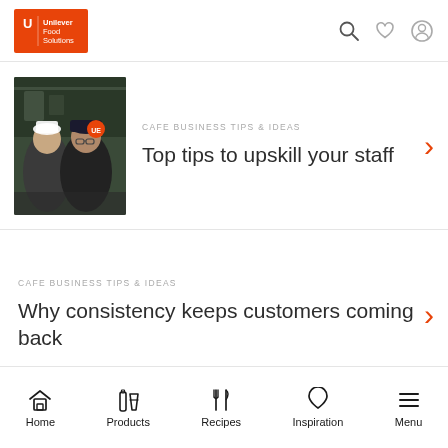Unilever Food Solutions
[Figure (photo): Two chefs working in a kitchen, wearing dark clothing and caps]
CAFE BUSINESS TIPS & IDEAS
Top tips to upskill your staff
CAFE BUSINESS TIPS & IDEAS
Why consistency keeps customers coming back
Home  Products  Recipes  Inspiration  Menu